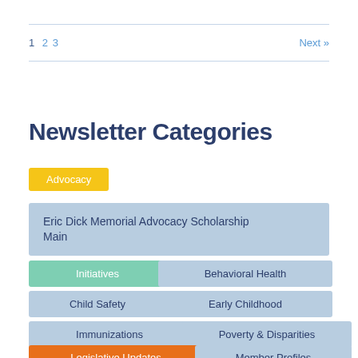1 2 3   Next »
Newsletter Categories
Advocacy
Eric Dick Memorial Advocacy Scholarship Main
Initiatives
Behavioral Health
Child Safety
Early Childhood
Immunizations
Poverty & Disparities
Legislative Updates
Member Profiles